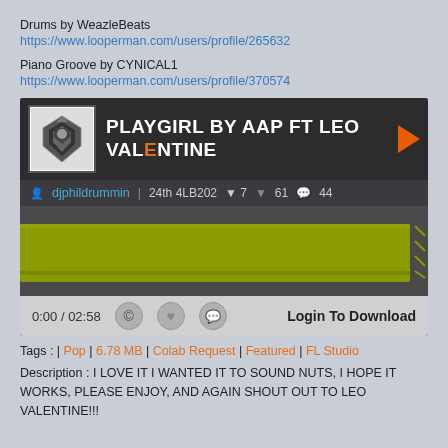Drums by WeazleBeats
https://www.looperman.com/users/profile/265632
Piano Groove by CYNICAL1
https://www.looperman.com/users/profile/370574
[Figure (screenshot): Music player card for 'PLAYGIRL BY AAP FT LEO VALENTINE' by djphildrummin. Shows avatar (Transformers Decepticon logo), track title, play button, metadata (24th 4LB202, 7 likes, 61 down-votes, 44 comments), waveform in olive/yellow-green color, controls bar with time 0:00 / 02:58, copyright, heart, comment icons, and Login To Download button.]
Tags : | Pop | 6.78 MB | Colab Request | Featured | FL Studio
Description : I LOVE IT I WANTED IT TO SOUND NUTS, I HOPE IT WORKS, PLEASE ENJOY, AND AGAIN SHOUT OUT TO LEO VALENTINE!!!